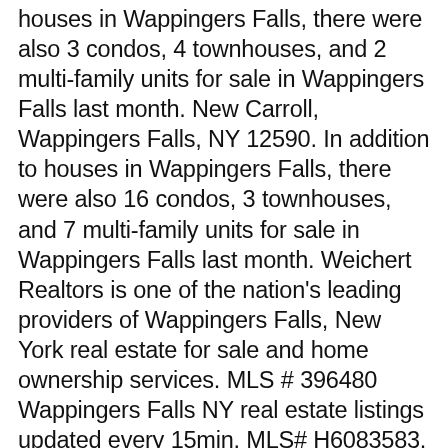houses in Wappingers Falls, there were also 3 condos, 4 townhouses, and 2 multi-family units for sale in Wappingers Falls last month. New Carroll, Wappingers Falls, NY 12590. In addition to houses in Wappingers Falls, there were also 16 condos, 3 townhouses, and 7 multi-family units for sale in Wappingers Falls last month. Weichert Realtors is one of the nation's leading providers of Wappingers Falls, New York real estate for sale and home ownership services. MLS # 396480 Wappingers Falls NY real estate listings updated every 15min. MLS# H6083583. Also review up-to-date market research and local market conditions as well as neighborhood and school information. You can even use keywords to help you find just … View listing photos, review sales history, and use our detailed real estate filters to find the perfect place. When browsing homes, you can view features, photos, find open houses, community information and more. View photos, see new listings, compare properties and get information on open houses. Commercial properties are also available. … This appealing model offers 4 … Prequalify today. New homes for sale in Wappingers Falls, NY have a median